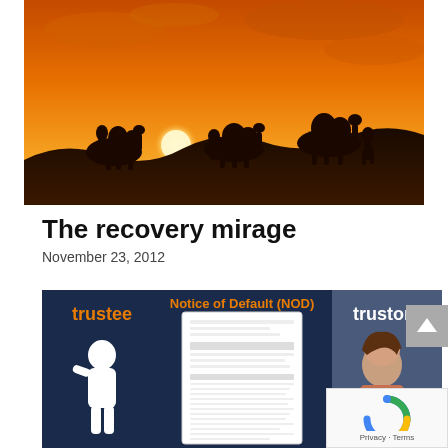[Figure (photo): Desert sunset silhouette photo showing a caravan of camels and people walking across sand dunes against a vivid orange sky with sun visible on the horizon]
The recovery mirage
November 23, 2012
[Figure (infographic): Blue background infographic showing 'trustee' in orange text on left with white silhouette of a person, center shows a 'Notice of Default (NOD)' document image, and 'trustor' text on right with a photo of a woman]